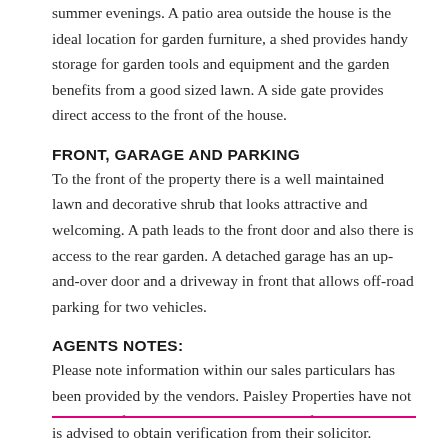summer evenings. A patio area outside the house is the ideal location for garden furniture, a shed provides handy storage for garden tools and equipment and the garden benefits from a good sized lawn. A side gate provides direct access to the front of the house.
FRONT, GARAGE AND PARKING
To the front of the property there is a well maintained lawn and decorative shrub that looks attractive and welcoming. A path leads to the front door and also there is access to the rear garden. A detached garage has an up-and-over door and a driveway in front that allows off-road parking for two vehicles.
AGENTS NOTES:
Please note information within our sales particulars has been provided by the vendors. Paisley Properties have not had sight of the title documents and therefore the buyer is advised to obtain verification from their solicitor.